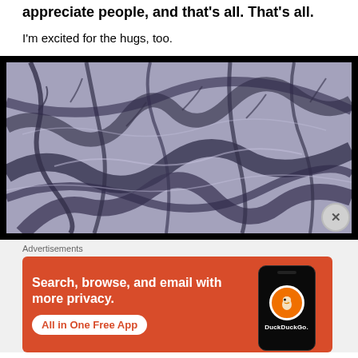appreciate people, and that's all. That's all.
I'm excited for the hugs, too.
[Figure (photo): Black and white photo of bare winter tree branches covered in snow or ice, densely overlapping, with a dark border frame around the image.]
Advertisements
[Figure (screenshot): DuckDuckGo advertisement banner with orange/red background. Left side reads 'Search, browse, and email with more privacy.' with a white 'All in One Free App' button. Right side shows a smartphone with the DuckDuckGo duck logo and the text 'DuckDuckGo.']